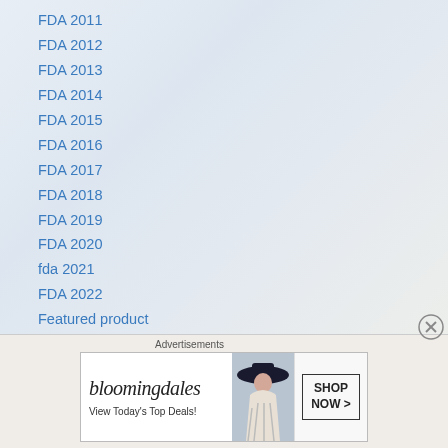FDA 2011
FDA 2012
FDA 2013
FDA 2014
FDA 2015
FDA 2016
FDA 2017
FDA 2018
FDA 2019
FDA 2020
fda 2021
FDA 2022
Featured product
female sexual dysfunction
FIBROMYGALIA
flow synthesis
Advertisements
[Figure (other): Bloomingdales advertisement banner showing brand name, 'View Today's Top Deals!' tagline, woman with large hat, and 'SHOP NOW >' button]